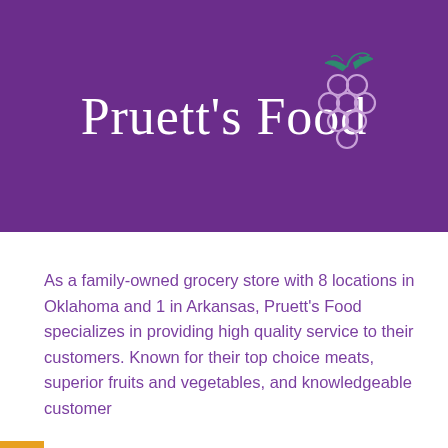[Figure (logo): Pruett's Food logo on purple background with white serif text and green/purple grape bunch illustration]
As a family-owned grocery store with 8 locations in Oklahoma and 1 in Arkansas, Pruett's Food specializes in providing high quality service to their customers. Known for their top choice meats, superior fruits and vegetables, and knowledgeable customer